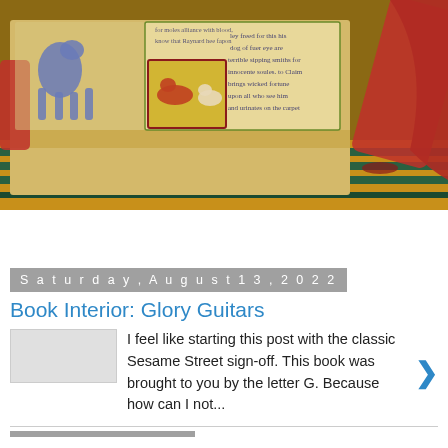[Figure (illustration): A painted illustration showing an open illuminated manuscript with medieval-style artwork featuring animals (a blue dog/wolf and a red fox with a smaller animal), handwritten text in an archaic script, and decorative borders. The book rests on a patterned carpet with a red ribbon nearby.]
Saturday, August 13, 2022
Book Interior: Glory Guitars
I feel like starting this post with the classic Sesame Street sign-off. This book was brought to you by the letter G. Because how can I not...